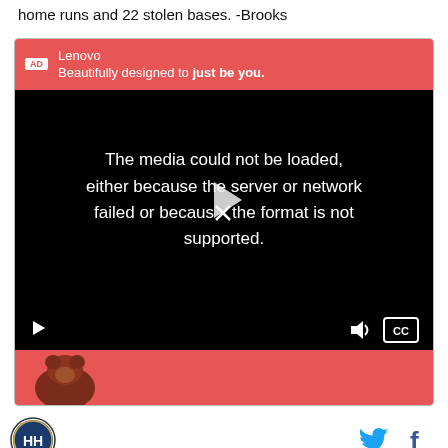home runs and 22 stolen bases. -Brooks
[Figure (screenshot): Advertisement banner for Lenovo with red background showing 'Lenovo / Beautifully designed to just be you.' followed by a video player with error message 'The media could not be loaded, either because the server or network failed or because the format is not supported.' with video controls at bottom, and a red banner at the bottom with a partial image of a sports mascot.]
[Figure (logo): Sports website logo (circular badge with HH letters) and social media icons for Twitter and Facebook]